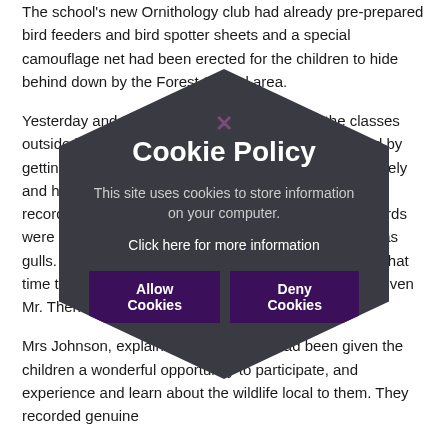The school's new Ornithology club had already pre-prepared bird feeders and bird spotter sheets and a special camouflage net had been erected for the children to hide behind down by the Forest School area.
Yesterday and today, Mrs Johnson has taken the classes outside in turn to use the equipment. Everyone started by getting to know the binoculars and how to use them safely and how to record their sightings. After spotting and recording the birds they could see, plenty of different birds were seen, not just from the school grounds too, such as gulls. The children enjoyed the experience and shown that time they enjoyed royal all stay on the fall participants even Mr. Then every people class and he could join in.
Mrs Johnson, explained that the birds had been given the children a wonderful opportunity to participate, and experience and learn about the wildlife local to them. They recorded genuine
[Figure (infographic): Cookie Policy modal overlay displayed as a dark hexagon shape in the center of the page. Contains title 'Cookie Policy', body text 'This site uses cookies to store information on your computer.', link text 'Click here for more information', and two buttons: 'Allow Cookies' and 'Deny Cookies'. A close (×) button appears at the top.]